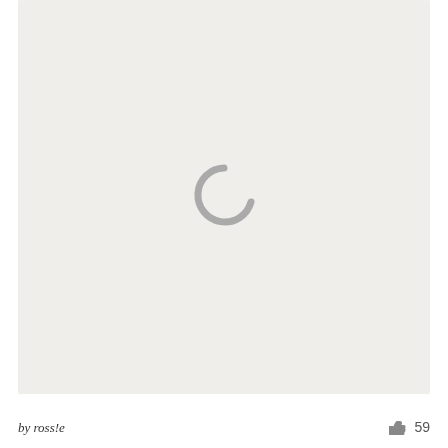[Figure (illustration): A light gray/off-white content card area showing a loading spinner icon (letter C shape in gray) centered in the image area, indicating content is loading.]
by ross!e
59